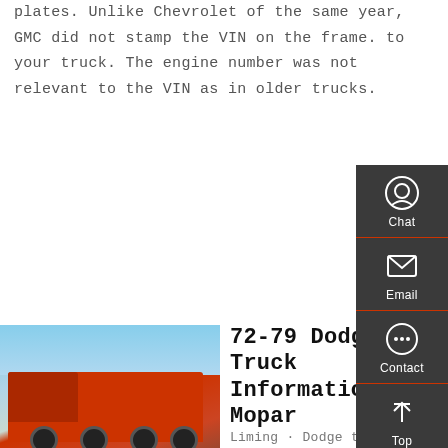plates. Unlike Chevrolet of the same year, GMC did not stamp the VIN on the frame. to your truck. The engine number was not relevant to the VIN as in older trucks.
[Figure (other): Orange 'Get a Quote' button]
[Figure (photo): Red dump truck photographed outdoors against blue sky]
72-79 Dodge Truck Information Old Mopar
Liming · Dodge trucks